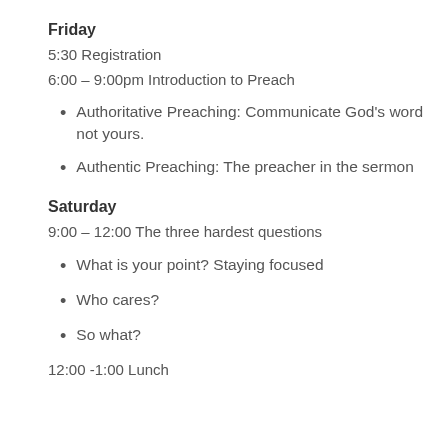Friday
5:30 Registration
6:00 – 9:00pm Introduction to Preach
Authoritative Preaching: Communicate God's word not yours.
Authentic Preaching: The preacher in the sermon
Saturday
9:00 – 12:00 The three hardest questions
What is your point? Staying focused
Who cares?
So what?
12:00 -1:00 Lunch